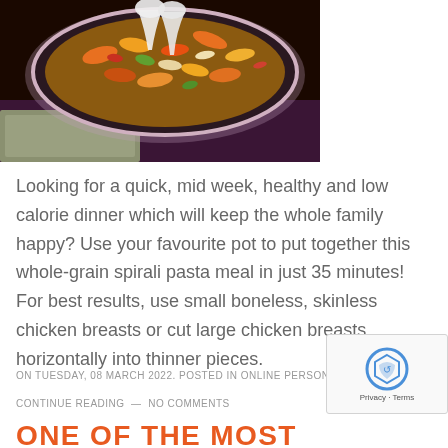[Figure (photo): A large pot or pan filled with colorful whole-grain spirali pasta mixed with vegetables and chicken, with serving utensils, on a dark background with a cloth napkin.]
Looking for a quick, mid week, healthy and low calorie dinner which will keep the whole family happy? Use your favourite pot to put together this whole-grain spirali pasta meal in just 35 minutes! For best results, use small boneless, skinless chicken breasts or cut large chicken breasts horizontally into thinner pieces.
ON TUESDAY, 08 MARCH 2022. POSTED IN ONLINE PERSONAL TRAINER
CONTINUE READING — NO COMMENTS
ONE OF THE MOST